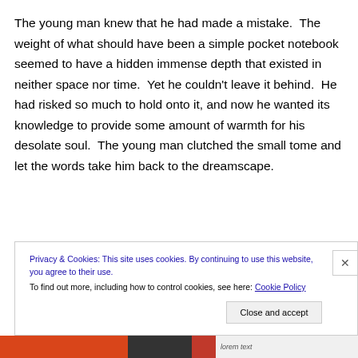The young man knew that he had made a mistake.  The weight of what should have been a simple pocket notebook seemed to have a hidden immense depth that existed in neither space nor time.  Yet he couldn't leave it behind.  He had risked so much to hold onto it, and now he wanted its knowledge to provide some amount of warmth for his desolate soul.  The young man clutched the small tome and let the words take him back to the dreamscape.
Privacy & Cookies: This site uses cookies. By continuing to use this website, you agree to their use.
To find out more, including how to control cookies, see here: Cookie Policy
Close and accept